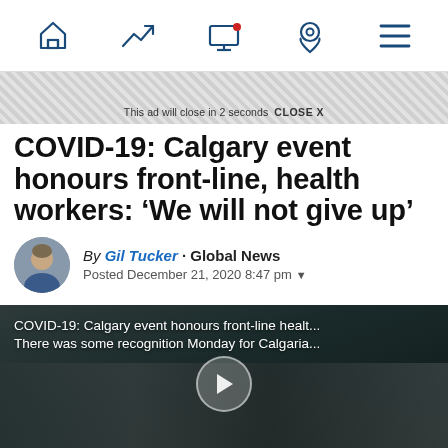Navigation bar with home, trending, screen, location, and menu icons
This ad will close in 2 seconds  CLOSE X
COVID-19: Calgary event honours front-line, health workers: ‘We will not give up’
By Gil Tucker · Global News
Posted December 21, 2020 8:47 pm
[Figure (screenshot): Video thumbnail showing COVID-19 Calgary event with text overlay: 'COVID-19: Calgary event honours front-line healt...' and 'There was some recognition Monday for Calgaria...' with a play button in the center]